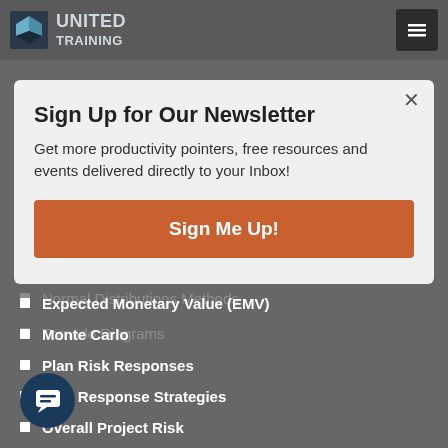United Training
PERT
Triangular Distributions
Outlier Considerations
Geometric Mean
Normal Distributions Methods
Tornado Diagrams
Sign Up for Our Newsletter
Get more productivity pointers, free resources and events delivered directly to your Inbox!
Sign Me Up!
Expected Monetary Value (EMV)
Monte Carlo
Plan Risk Responses
Risk Response Strategies
Overall Project Risk
Checklists
Executing Process Group